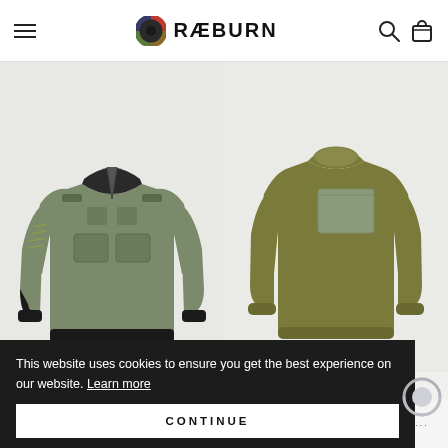RÆBURN
[Figure (photo): Military-style olive/sage green bomber jacket with multiple cargo pockets, lace-up detailing on sleeves, and black ribbed cuffs and hem — Ræburn brand product shot on grey background]
[Figure (photo): Olive green crew-neck sweatshirt with a rectangular chest pocket in lighter sage green — Ræburn brand product shot on grey background]
OLIVE
This website uses cookies to ensure you get the best experience on our website. Learn more
CONTINUE